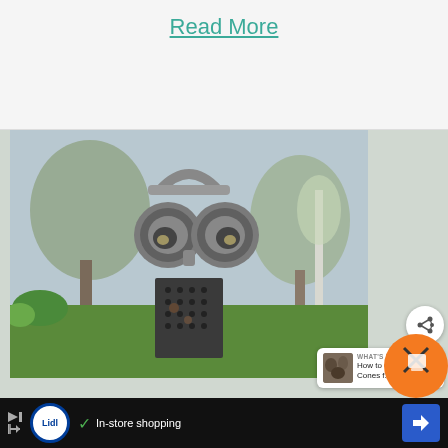Read More
[Figure (photo): Metal owl sculpture made from kitchen graters and bowls, photographed outdoors on grass with trees in background. Features bowl-shaped eyes, grater body, and handle on top. A share button overlay and 'What's Next: How to Clean Pine Cones f...' card are visible.]
[Figure (infographic): Advertisement footer bar with Lidl logo, checkmark, 'In-store shopping' text, navigation arrow icon, and coffee/Buy Me a Coffee button overlay]